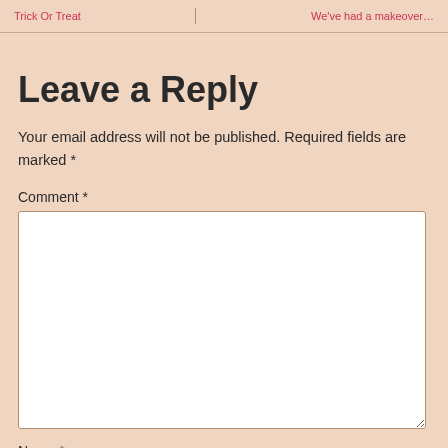Trick Or Treat | We've had a makeover…
Leave a Reply
Your email address will not be published. Required fields are marked *
Comment *
Name *